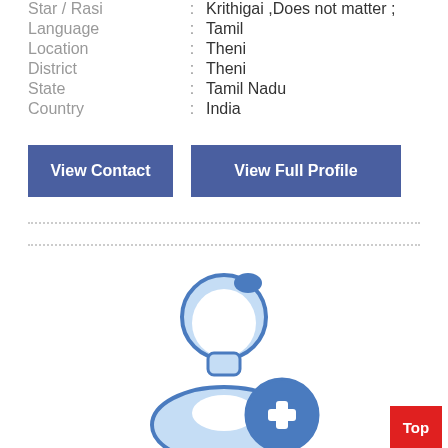Star / Rasi : Krithigai ,Does not matter ;
Language : Tamil
Location : Theni
District : Theni
State : Tamil Nadu
Country : India
View Contact
View Full Profile
[Figure (illustration): Default male user avatar placeholder with a blue circle containing a white plus sign in the bottom right corner]